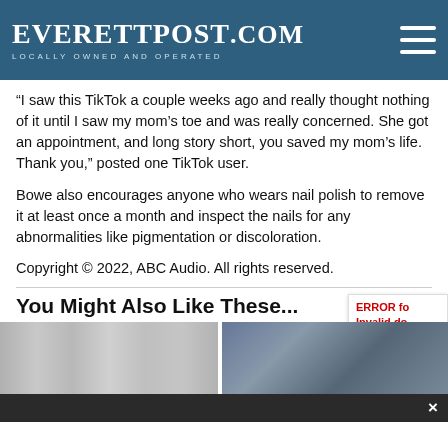EverettPost.com — Locally Owned and Operated
“I saw this TikTok a couple weeks ago and really thought nothing of it until I saw my mom’s toe and was really concerned. She got an appointment, and long story short, you saved my mom’s life. Thank you,” posted one TikTok user.
Bowe also encourages anyone who wears nail polish to remove it at least once a month and inspect the nails for any abnormalities like pigmentation or discoloration.
Copyright © 2022, ABC Audio. All rights reserved.
You Might Also Like These...
[Figure (photo): Two thumbnail images side by side at bottom of page, partially visible]